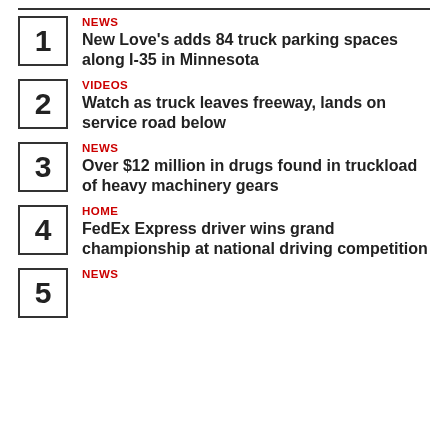1 | NEWS | New Love’s adds 84 truck parking spaces along I-35 in Minnesota
2 | VIDEOS | Watch as truck leaves freeway, lands on service road below
3 | NEWS | Over $12 million in drugs found in truckload of heavy machinery gears
4 | HOME | FedEx Express driver wins grand championship at national driving competition
5 | NEWS | (partial)